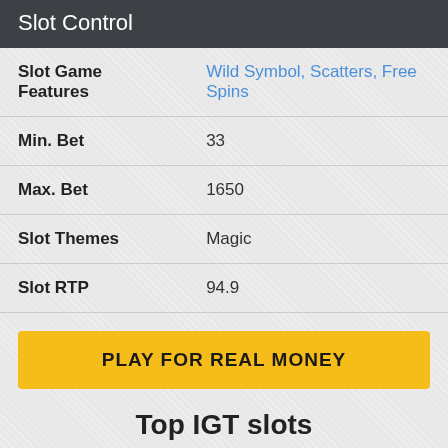Slot Control
| Slot Game Features | Wild Symbol, Scatters, Free Spins |
| Min. Bet | 33 |
| Max. Bet | 1650 |
| Slot Themes | Magic |
| Slot RTP | 94.9 |
PLAY FOR REAL MONEY
Top IGT slots